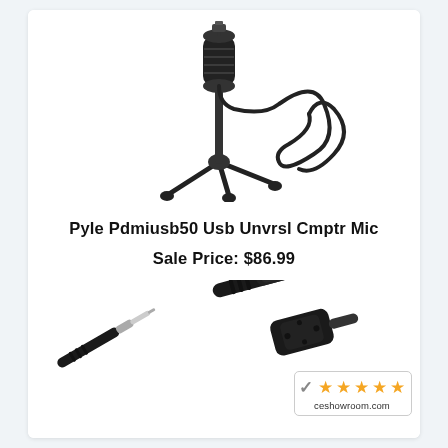[Figure (photo): A black USB microphone on a tripod stand with a coiled cable, viewed from the side on a white background.]
Pyle Pdmiusb50 Usb Unvrsl Cmptr Mic
Sale Price: $86.99
[Figure (photo): Close-up of two black 1/4-inch audio jack plugs/connectors on a white background, with a five-star rating badge from ceshowroom.com overlaid in the bottom right.]